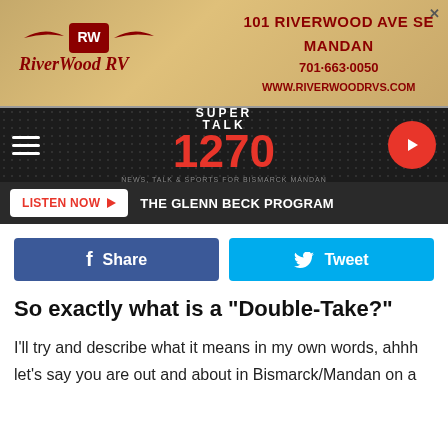[Figure (screenshot): RiverWood RV advertisement banner with logo, address 101 Riverwood Ave SE Mandan, phone 701-663-0050, website www.riverwoodrvs.com]
[Figure (logo): Super Talk 1270 radio station navigation bar with hamburger menu and play button]
LISTEN NOW ▶  THE GLENN BECK PROGRAM
Share
Tweet
So exactly what is a "Double-Take?"
I'll try and describe what it means in my own words, ahhh let's say you are out and about in Bismarck/Mandan on a hot summer day, and you look over and see someone walking a cat on a leash. Your brain tells you almost instantly that what you saw was definitely not something you see every day, or in your life for that matter - so you look over real quick again ( a double-take ) just to make sure you're not